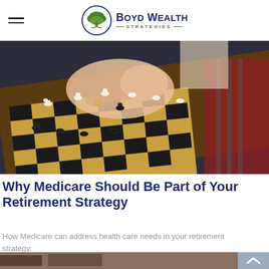[Figure (logo): Boyd Wealth Strategies logo with tree icon in circular frame and company name]
[Figure (photo): Elderly person's hands moving chess pieces on a chess board, photographed from above at an angle]
Why Medicare Should Be Part of Your Retirement Strategy
How Medicare can address health care needs in your retirement strategy.